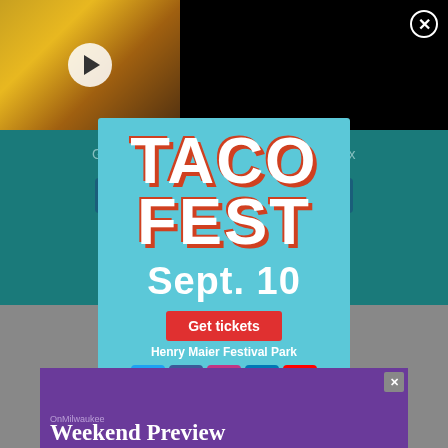[Figure (screenshot): Video thumbnail showing food truck items with yellow branding, with a play button overlay]
Why you should get to MKE Food Truck Fest!
Get all the daily headlines in your inbox
Sign up for our newsletter
Follow OnMilwaukee
[Figure (infographic): Taco Fest advertisement with teal background. Large text: TACO FEST, Sept. 10, with Get tickets button, Henry Maier Festival Park, social media icons for Twitter, Facebook, Instagram, LinkedIn, YouTube, and taco food photo at bottom.]
[Figure (screenshot): Bottom purple advertisement banner with Weekend Preview text]